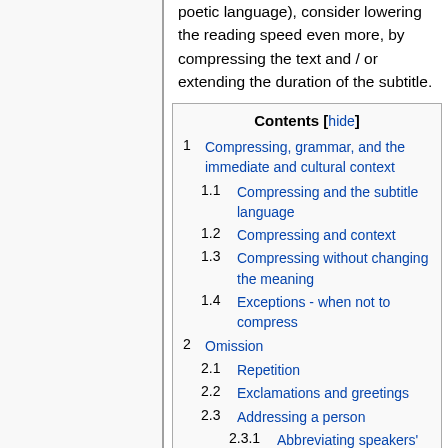poetic language), consider lowering the reading speed even more, by compressing the text and / or extending the duration of the subtitle.
| Contents [hide] |
| 1 | Compressing, grammar, and the immediate and cultural context |
| 1.1 | Compressing and the subtitle language |
| 1.2 | Compressing and context |
| 1.3 | Compressing without changing the meaning |
| 1.4 | Exceptions - when not to compress |
| 2 | Omission |
| 2.1 | Repetition |
| 2.2 | Exclamations and greetings |
| 2.3 | Addressing a person |
| 2.3.1 | Abbreviating speakers' names |